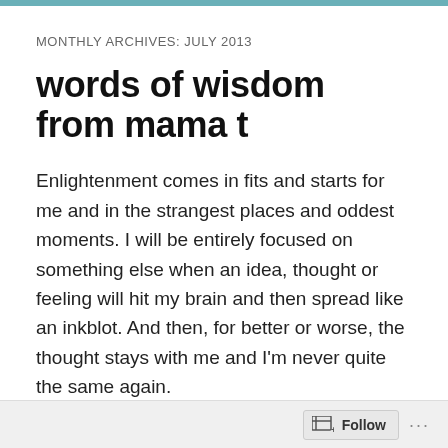MONTHLY ARCHIVES: JULY 2013
words of wisdom from mama t
Enlightenment comes in fits and starts for me and in the strangest places and oddest moments. I will be entirely focused on something else when an idea, thought or feeling will hit my brain and then spread like an inkblot. And then, for better or worse, the thought stays with me and I'm never quite the same again.
Such was the case on a treadmill. Long enough ago that I was listening to a cassette tape on my Sony Walkman (Yes. A Sony Walkman). A friend had given me a copy of a Wayne Dyer presentation to listen to. Not your typical